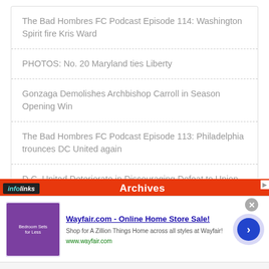The Bad Hombres FC Podcast Episode 114: Washington Spirit fire Kris Ward
PHOTOS: No. 20 Maryland ties Liberty
Gonzaga Demolishes Archbishop Carroll in Season Opening Win
The Bad Hombres FC Podcast Episode 113: Philadelphia trounces DC United again
D.C. United Deteriorate in Discouraging Defeat to Union
Archives
[Figure (screenshot): Wayfair.com advertisement: Online Home Store Sale! Shop for A Zillion Things Home across all styles at Wayfair! www.wayfair.com]